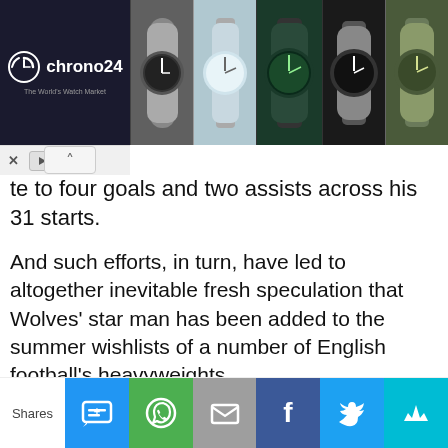[Figure (other): Chrono24 watch advertisement banner showing logo on dark background and five watch product images]
te to four goals and two assists across his 31 starts.
And such efforts, in turn, have led to altogether inevitable fresh speculation that Wolves' star man has been added to the summer wishlists of a number of English football's heavyweights.
[Figure (other): Broken image placeholder for: Wolves' Ruben Neves price-tag revealed amid Man United links]
Shares [social share buttons: SMS, WhatsApp, Email, Facebook, Twitter, Bookmark]